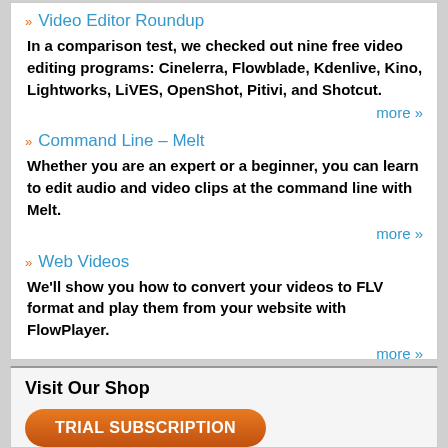Video Editor Roundup
In a comparison test, we checked out nine free video editing programs: Cinelerra, Flowblade, Kdenlive, Kino, Lightworks, LiVES, OpenShot, Pitivi, and Shotcut.
more »
Command Line – Melt
Whether you are an expert or a beginner, you can learn to edit audio and video clips at the command line with Melt.
more »
Web Videos
We'll show you how to convert your videos to FLV format and play them from your website with FlowPlayer.
more »
comments powered by Disqus
Visit Our Shop
TRIAL SUBSCRIPTION